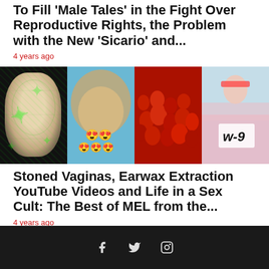To Fill 'Male Tales' in the Fight Over Reproductive Rights, the Problem with the New 'Sicario' and...
4 years ago
[Figure (photo): A collage of four images: 1) A man's face with green cannabis-leaf digital overlay on black background; 2) A close-up of an ear with earwax extraction tool and emoji; 3) A crowd of people in red; 4) A woman in pink outfit holding a sign reading 'w-9']
Stoned Vaginas, Earwax Extraction YouTube Videos and Life in a Sex Cult: The Best of MEL from the...
4 years ago
Social media icons: Facebook, Twitter, Instagram